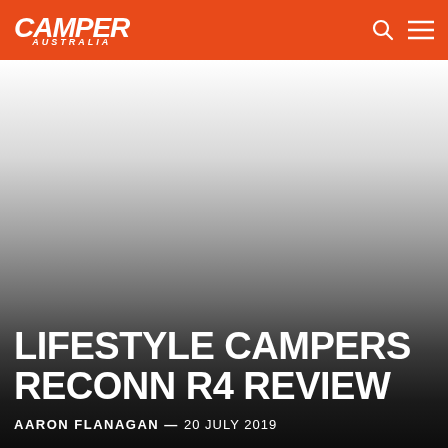CAMPER AUSTRALIA
[Figure (photo): Hero image area with gradient from white/light grey at top to very dark grey/black at bottom, serving as background for article title overlay]
LIFESTYLE CAMPERS RECONN R4 REVIEW
AARON FLANAGAN — 20 JULY 2019